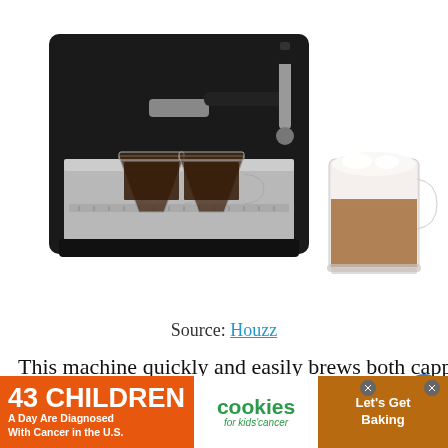[Figure (photo): An espresso machine with two small glass espresso cups and a larger glass mug of cappuccino with foam on top, on a white background.]
Source: Houzz
This machine quickly and easily brews both cappuccino and espresso. With a steel-lined block heater and a strong pump that can easily force the water through the grounds, you...
[Figure (infographic): Advertisement banner: '43 CHILDREN A Day Are Diagnosed With Cancer in the U.S.' with cookies for kids' cancer and 'Let's Get Baking' sections.]